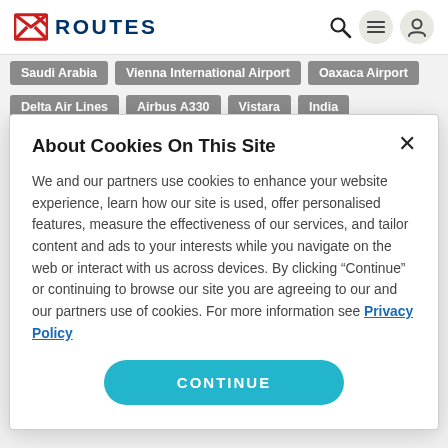ROUTES
Saudi Arabia | Vienna International Airport | Oaxaca Airport | Delta Air Lines | Airbus A330 | Vistara | India
About Cookies On This Site
We and our partners use cookies to enhance your website experience, learn how our site is used, offer personalised features, measure the effectiveness of our services, and tailor content and ads to your interests while you navigate on the web or interact with us across devices. By clicking "Continue" or continuing to browse our site you are agreeing to our and our partners use of cookies. For more information see Privacy Policy
CONTINUE